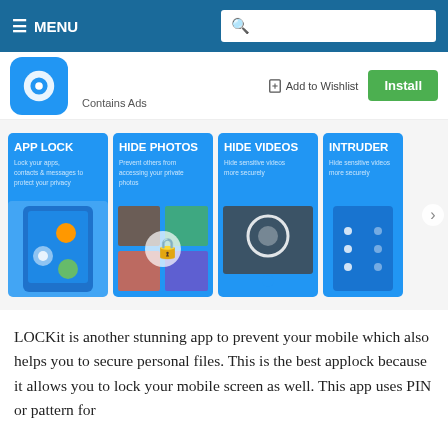☰ MENU
[Figure (screenshot): App store listing for LOCKit showing app icon, Contains Ads label, Add to Wishlist button, and Install button]
[Figure (screenshot): Screenshot strip showing LOCKit app features: APP LOCK, HIDE PHOTOS, HIDE VIDEOS, INTRUDER with app UI previews]
LOCKit is another stunning app to prevent your mobile which also helps you to secure personal files. This is the best applock because it allows you to lock your mobile screen as well. This app uses PIN or pattern for